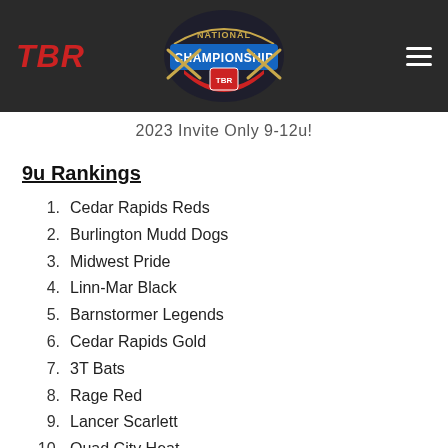TBR National Championship
[Figure (logo): TBR National Championship logo with shield and crossed bats]
2023 Invite Only 9-12u!
9u Rankings
1. Cedar Rapids Reds
2. Burlington Mudd Dogs
3. Midwest Pride
4. Linn-Mar Black
5. Barnstormer Legends
6. Cedar Rapids Gold
7. 3T Bats
8. Rage Red
9. Lancer Scarlett
10. Quad City Heat